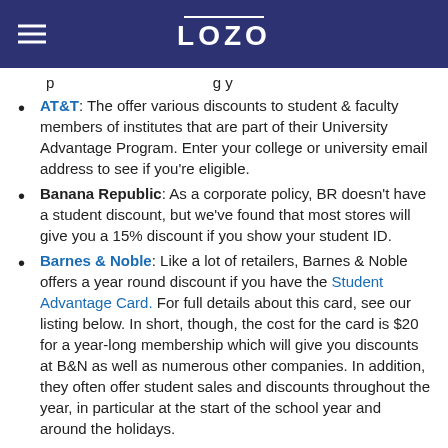LOZO
AT&T: The offer various discounts to student & faculty members of institutes that are part of their University Advantage Program. Enter your college or university email address to see if you're eligible.
Banana Republic: As a corporate policy, BR doesn't have a student discount, but we've found that most stores will give you a 15% discount if you show your student ID.
Barnes & Noble: Like a lot of retailers, Barnes & Noble offers a year round discount if you have the Student Advantage Card. For full details about this card, see our listing below. In short, though, the cost for the card is $20 for a year-long membership which will give you discounts at B&N as well as numerous other companies. In addition, they often offer student sales and discounts throughout the year, in particular at the start of the school year and around the holidays.